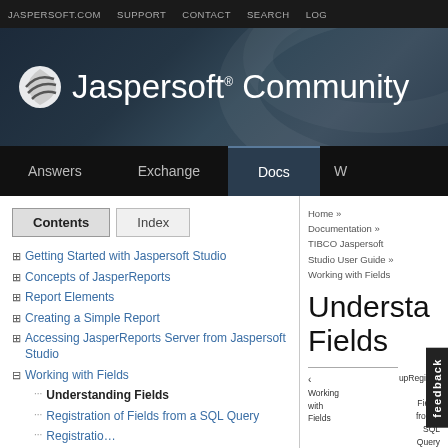JASPERSOFT.COM  SUPPORT  CONTACT  SEARCH  LOG
[Figure (logo): Jaspersoft Community logo with circular striped icon and white text on dark gradient background]
Answers  Exchange  Docs  W
Contents  Index
Getting Started with Jaspersoft Studio
Concepts of JasperReports
Report Elements
Creating a Simple Report
Accessing JasperReports Server from Jaspersoft Studio
Working with Fields
Understanding Fields
Registration of Fields from a SQL Query
Home » Documentation » TIBCO Jaspersoft Studio User Guide » Working with Fields
Understanding Fields
< Working with Fields  upRegistration of Fields from a SQL Query